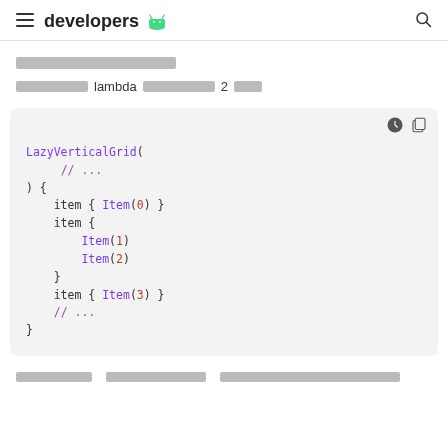developers [android logo]
[redacted text line]
[redacted] lambda [redacted] 2 [redacted]
[Figure (screenshot): Code block showing LazyVerticalGrid usage with item blocks containing Item(0), Item(1), Item(2), Item(3) and comments]
[redacted footer text]